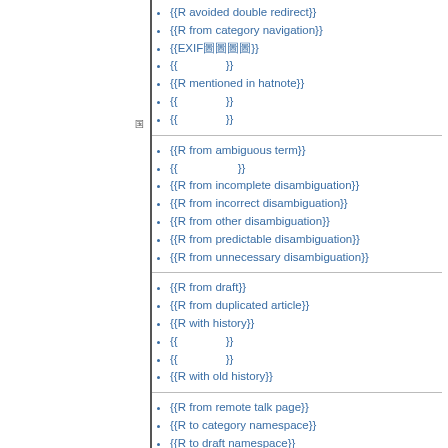{{R avoided double redirect}}
{{R from category navigation}}
{{EXIF圖圖圖圖}}
{{　　　　}}
{{R mentioned in hatnote}}
{{　　　　}}
{{　　　　}}
{{R from ambiguous term}}
{{　　　　　}}
{{R from incomplete disambiguation}}
{{R from incorrect disambiguation}}
{{R from other disambiguation}}
{{R from predictable disambiguation}}
{{R from unnecessary disambiguation}}
{{R from draft}}
{{R from duplicated article}}
{{R with history}}
{{　　　　}}
{{　　　　}}
{{R with old history}}
{{R from remote talk page}}
{{R to category namespace}}
{{R to draft namespace}}